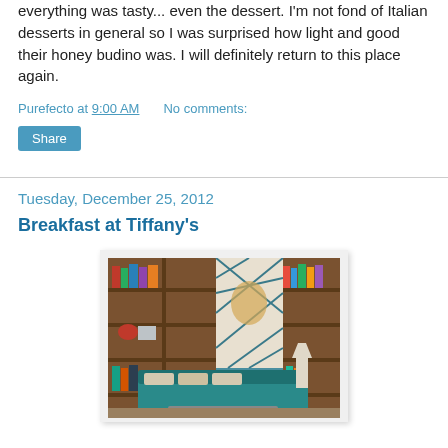everything was tasty... even the dessert.  I'm not fond of Italian desserts in general so I was surprised how light and good their honey budino was.  I will definitely return to this place again.
Purefecto at 9:00 AM    No comments:
Share
Tuesday, December 25, 2012
Breakfast at Tiffany's
[Figure (photo): Interior of a restaurant or lounge featuring teal leather sofas, wooden bookshelves filled with books and decorative items, a decorative wall panel with geometric diamond pattern, and a teal accent wall.]